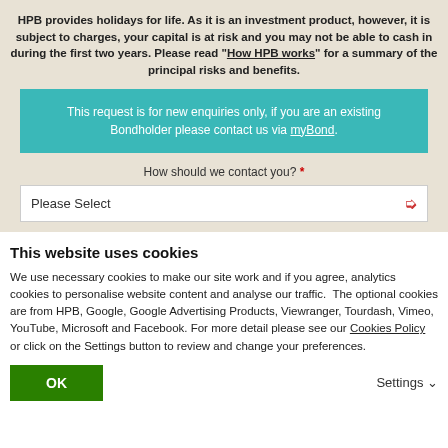HPB provides holidays for life. As it is an investment product, however, it is subject to charges, your capital is at risk and you may not be able to cash in during the first two years. Please read "How HPB works" for a summary of the principal risks and benefits.
This request is for new enquiries only, if you are an existing Bondholder please contact us via myBond.
How should we contact you? *
Please Select
This website uses cookies
We use necessary cookies to make our site work and if you agree, analytics cookies to personalise website content and analyse our traffic. The optional cookies are from HPB, Google, Google Advertising Products, Viewranger, Tourdash, Vimeo, YouTube, Microsoft and Facebook. For more detail please see our Cookies Policy or click on the Settings button to review and change your preferences.
OK
Settings